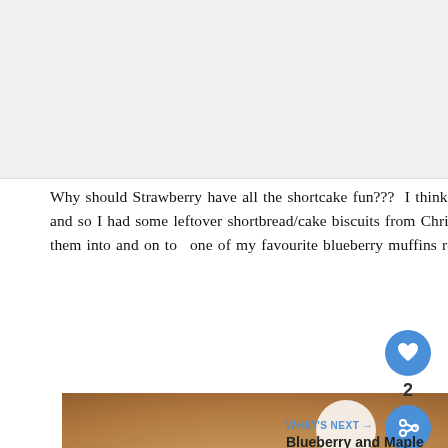[Figure (photo): Top portion of a food blog page showing a white/light gray area where a recipe header image would appear]
Why should Strawberry have all the shortcake fun???  I think Blueberry deserves a little Shortcake fun too and so I had some leftover shortbread/cake biscuits from Christmas and I just crumbled them up and tossed them into and on top of one of my favourite blueberry muffins recipes.
[Figure (photo): Close-up photograph of blueberry shortcake muffins with crumbled shortbread topping, displayed on a blue and white patterned surface, with warm brown tones and visible blueberries]
2
WHAT'S NEXT → Blueberry and Maple Corn...